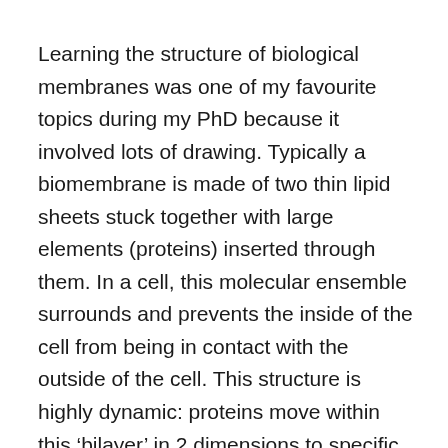Learning the structure of biological membranes was one of my favourite topics during my PhD because it involved lots of drawing. Typically a biomembrane is made of two thin lipid sheets stuck together with large elements (proteins) inserted through them. In a cell, this molecular ensemble surrounds and prevents the inside of the cell from being in contact with the outside of the cell. This structure is highly dynamic: proteins move within this ‘bilayer’ in 2 dimensions to specific locations when the cell needs it. In order to represent this in an accurate diagram, you need to draw a 3 dimensions structure, which mostly had 2 dimensional capabilities, on a (2 dimensional) piece of paper – woo ha!